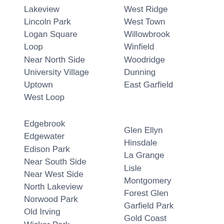Lakeview
Lincoln Park
Logan Square
Loop
Near North Side
University Village
Uptown
West Loop
Edgebrook
Edgewater
Edison Park
Near South Side
Near West Side
North Lakeview
Norwood Park
Old Irving
Wicker Park
West Ridge
West Town
Willowbrook
Winfield
Woodridge
Dunning
East Garfield
Glen Ellyn
Hinsdale
La Grange
Lisle
Montgomery
Forest Glen
Garfield Park
Gold Coast
Goose Island